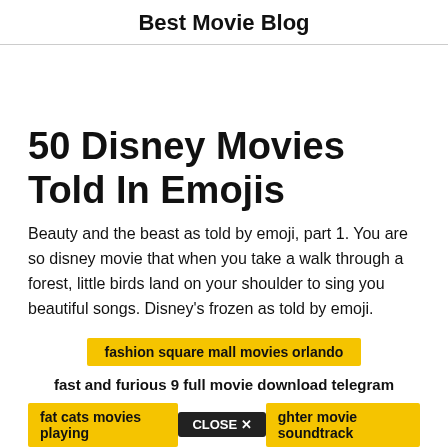Best Movie Blog
50 Disney Movies Told In Emojis
Beauty and the beast as told by emoji, part 1. You are so disney movie that when you take a walk through a forest, little birds land on your shoulder to sing you beautiful songs. Disney's frozen as told by emoji.
fashion square mall movies orlando
fast and furious 9 full movie download telegram
fat cats movies playing  CLOSE ✕  ghter movie soundtrack